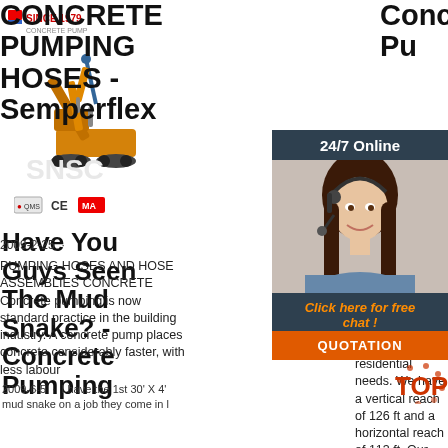[Figure (logo): Company logo with crane/construction equipment and certification icons (CE, MA)]
Have You Guys Seen The Mud Snake? - Concrete Pumping
2009-6-5 · I have the 1st 30' X 4' mud snake on a job they come in l
CONCRETE PUMPING HOSES - Semperflex
2009-2-25 · PUMPING HOSES AND HOSE ASSEMBLIES CONCRETE Concrete pumping is now standard practice in the building industry. A concrete pump places concrete considerably faster, with less labour
[Figure (photo): Female customer service agent with headset smiling, 24/7 Online chat widget]
24/7 Online
Click here for free chat !
QUOTATION
Con certi pum SNF Pum and serv com residential needs. We have a vertical reach of 126 ft and a horizontal reach of 113 ft. Our 'Mud-Snake' hose is ideal for